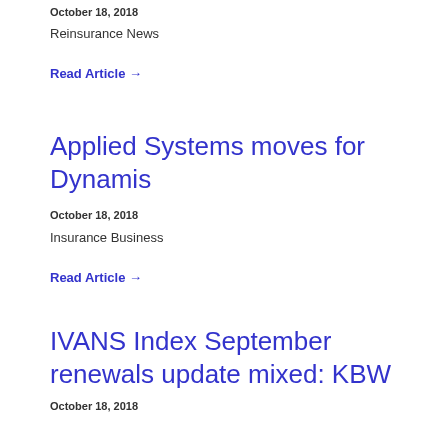October 18, 2018
Reinsurance News
Read Article →
Applied Systems moves for Dynamis
October 18, 2018
Insurance Business
Read Article →
IVANS Index September renewals update mixed: KBW
October 18, 2018